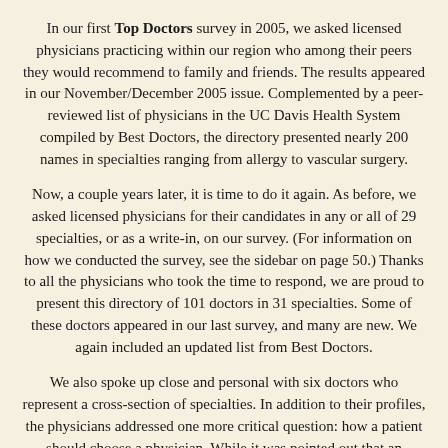In our first Top Doctors survey in 2005, we asked licensed physicians practicing within our region who among their peers they would recommend to family and friends. The results appeared in our November/December 2005 issue. Complemented by a peer-reviewed list of physicians in the UC Davis Health System compiled by Best Doctors, the directory presented nearly 200 names in specialties ranging from allergy to vascular surgery.
Now, a couple years later, it is time to do it again. As before, we asked licensed physicians for their candidates in any or all of 29 specialties, or as a write-in, on our survey. (For information on how we conducted the survey, see the sidebar on page 50.) Thanks to all the physicians who took the time to respond, we are proud to present this directory of 101 doctors in 31 specialties. Some of these doctors appeared in our last survey, and many are new. We again included an updated list from Best Doctors.
We also spoke up close and personal with six doctors who represent a cross-section of specialties. In addition to their profiles, the physicians addressed one more critical question: how a patient should choose a physician. While it was pointed out that an insurance plan is often what dictates physician selection, all our physicians agreed that the individual should still select a doctor who they respect and trust with their health care decisions. For their answers, and answers from the doctors profiled in our 2005